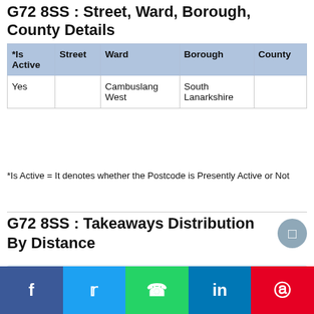G72 8SS : Street, Ward, Borough, County Details
| *Is Active | Street | Ward | Borough | County |
| --- | --- | --- | --- | --- |
| Yes |  | Cambuslang West | South Lanarkshire |  |
*Is Active = It denotes whether the Postcode is Presently Active or Not
G72 8SS : Takeaways Distribution By Distance
[Figure (bar-chart): Partial bar chart showing takeaways distribution, y-axis label 4Km visible]
f  t  (whatsapp)  in  (pinterest)